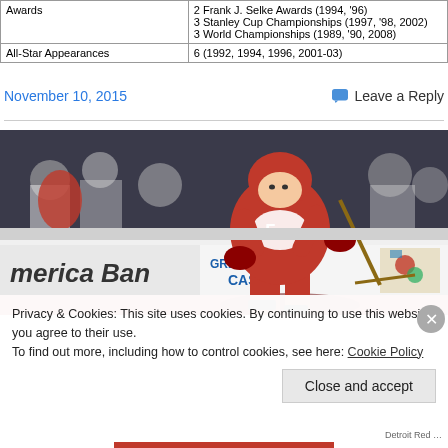| Awards | 2 Frank J. Selke Awards (1994, '96)
3 Stanley Cup Championships (1997, '98, 2002)
3 World Championships (1989, '90, 2008) |
| All-Star Appearances | 6 (1992, 1994, 1996, 2001-03) |
November 10, 2015
Leave a Reply
[Figure (photo): Hockey player wearing Detroit Red Wings #5 jersey in red, skating on ice at an arena with America Bank and Greektown Casino advertisements visible in background.]
Privacy & Cookies: This site uses cookies. By continuing to use this website, you agree to their use.
To find out more, including how to control cookies, see here: Cookie Policy
Close and accept